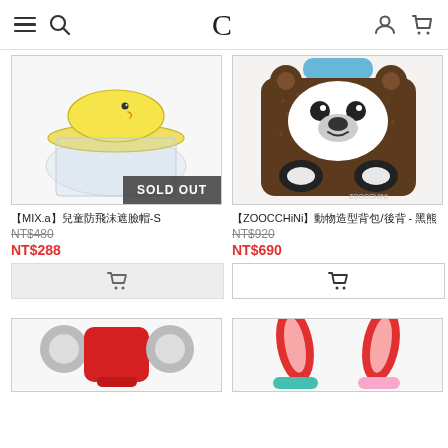≡  🔍  C  👤  🛒
[Figure (photo): Yellow duck bucket hat with transparent face shield, sold out badge overlay]
【MIX.a】兒童防飛沫遮臉帽-S
NT$480 (original, strikethrough)
NT$288 (sale price)
[Figure (photo): ZOOCCHiNi brown bear face children backpack]
【ZOOCCHiNi】動物造型背包/後背 - 黑熊
NT$920 (original, strikethrough)
NT$690 (sale price)
[Figure (photo): Partial view of children animal hat product at bottom left]
[Figure (photo): Partial view of children rabbit ears hat product at bottom right]